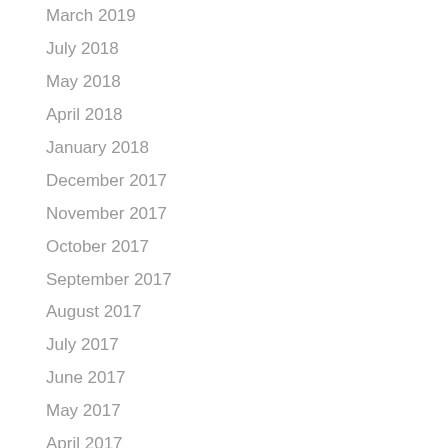March 2019
July 2018
May 2018
April 2018
January 2018
December 2017
November 2017
October 2017
September 2017
August 2017
July 2017
June 2017
May 2017
April 2017
March 2017
February 2017
January 2017
December 2016